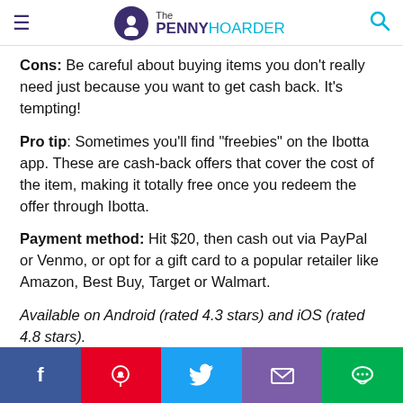The PENNY HOARDER
Cons: Be careful about buying items you don't really need just because you want to get cash back. It's tempting!
Pro tip: Sometimes you'll find "freebies" on the Ibotta app. These are cash-back offers that cover the cost of the item, making it totally free once you redeem the offer through Ibotta.
Payment method: Hit $20, then cash out via PayPal or Venmo, or opt for a gift card to a popular retailer like Amazon, Best Buy, Target or Walmart.
Available on Android (rated 4.3 stars) and iOS (rated 4.8 stars).
4. Nielsen Consumer Panel Get